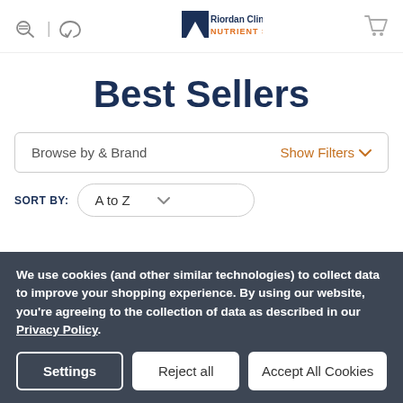Riordan Clinic NUTRIENT STORE
Best Sellers
Browse by & Brand  Show Filters
SORT BY: A to Z
We use cookies (and other similar technologies) to collect data to improve your shopping experience. By using our website, you're agreeing to the collection of data as described in our Privacy Policy.
Settings | Reject all | Accept All Cookies